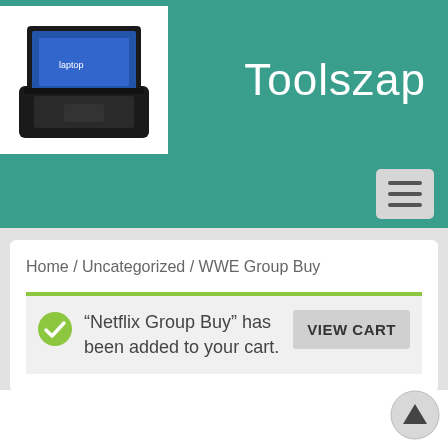[Figure (logo): Toolszap website header with laptop logo image and site name 'Toolszap' on teal background]
Toolszap
[Figure (screenshot): Hamburger menu button (three horizontal lines) on teal background]
Home / Uncategorized / WWE Group Buy
“Netflix Group Buy” has been added to your cart.